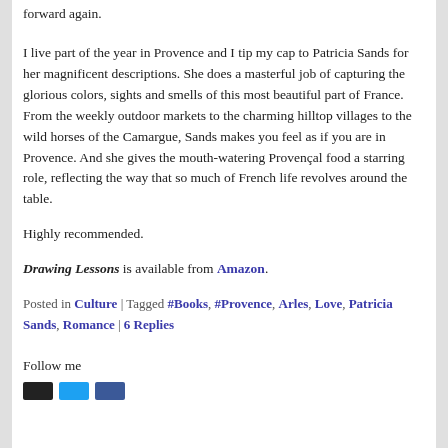forward again.
I live part of the year in Provence and I tip my cap to Patricia Sands for her magnificent descriptions. She does a masterful job of capturing the glorious colors, sights and smells of this most beautiful part of France. From the weekly outdoor markets to the charming hilltop villages to the wild horses of the Camargue, Sands makes you feel as if you are in Provence. And she gives the mouth-watering Provençal food a starring role, reflecting the way that so much of French life revolves around the table.
Highly recommended.
Drawing Lessons is available from Amazon.
Posted in Culture | Tagged #Books, #Provence, Arles, Love, Patricia Sands, Romance | 6 Replies
Follow me